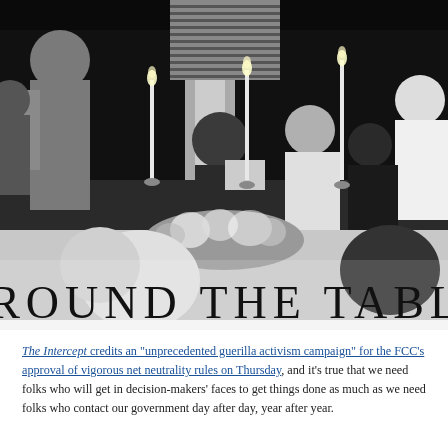[Figure (photo): Black and white stylized/posterized photo of people seated around a formal dining table with candles and flowers, with text overlay reading 'AROUND THE TABLE' in large serif capital letters at the bottom.]
The Intercept credits an "unprecedented guerilla activism campaign" for the FCC's approval of vigorous net neutrality rules on Thursday, and it's true that we need folks who will get in decision-makers' faces to get things done as much as we need folks who contact our government day after day, year after year.